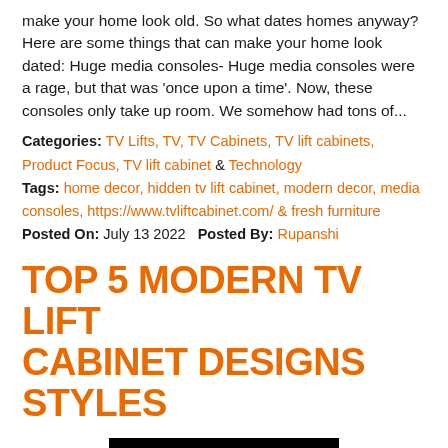make your home look old. So what dates homes anyway? Here are some things that can make your home look dated: Huge media consoles- Huge media consoles were a rage, but that was 'once upon a time'. Now, these consoles only take up room. We somehow had tons of...
Categories: TV Lifts, TV, TV Cabinets, TV lift cabinets, Product Focus, TV lift cabinet & Technology
Tags: home decor, hidden tv lift cabinet, modern decor, media consoles, https://www.tvliftcabinet.com/ & fresh furniture
Posted On: July 13 2022   Posted By: Rupanshi
TOP 5 MODERN TV LIFT CABINET DESIGNS STYLES
[Figure (photo): Black rectangular image, partially visible at bottom of page]